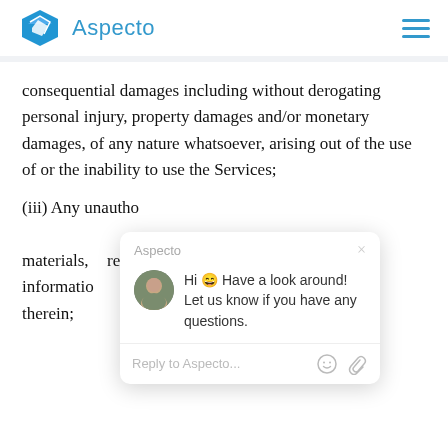Aspecto
consequential damages including without derogating personal injury, property damages and/or monetary damages, of any nature whatsoever, arising out of the use of or the inability to use the Services;
[Figure (screenshot): Aspecto chat popup widget showing greeting message: 'Hi 😀 Have a look around! Let us know if you have any questions.' with a reply input field and chat bubble button with badge showing 1 notification.]
(iii) Any unauthorized access to or use of our secure servers and/or any and all personal information and/or financial information stored therein;
(iv) Any interruption or cessation of transmission to or from the Services;
(v) Any bugs, viruses, Trojan horses, or the like which may be transmitted to or through the Services by any